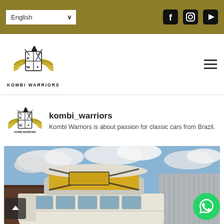English (language selector) | Facebook, Instagram, YouTube social icons
[Figure (logo): Kombi Warriors logo — a heraldic shield with crossed swords and a spartan helmet, gold wings, with text KOMBI WARRIORS below]
kombi_warriors
Kombi Warriors is about passion for classic cars from Brazil.
[Figure (photo): Photograph of a classic VW Kombi van with a yellow pop-up roof tent/camper top raised, parked in front of a corrugated metal building under a partly cloudy sky]